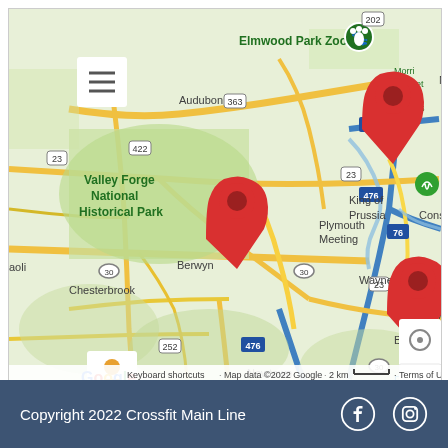[Figure (map): Google Maps view of the Philadelphia suburban area showing locations including Elmwood Park Zoo, Valley Forge National Historical Park, Chesterbrook, Plymouth Meeting, Conshohocken, Bryn Mawr, Ardmore, Wayne, Berwyn, Newtown Square, and Havertown. Three red map pins are visible: one near Chesterbrook/Valley Forge area, one near Plymouth Meeting, and one near Ardmore/Bryn Mawr. Map includes zoom controls, street view pegman icon, and standard Google Maps attribution.]
Copyright 2022 Crossfit Main Line